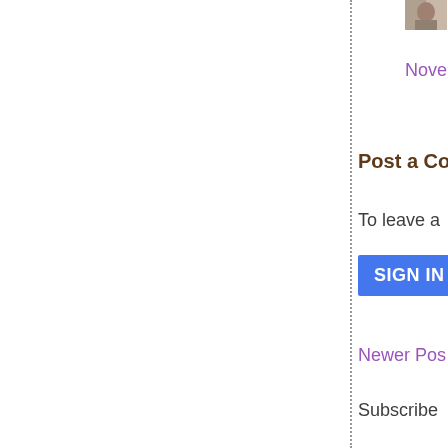[Figure (photo): Small thumbnail photo of a person, partially visible at top right of sidebar]
ever
Nove
Post a Com
To leave a
SIGN IN W
Newer Pos
Subscribe